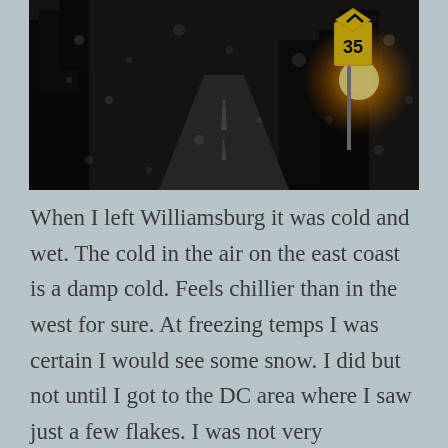[Figure (photo): Dark rainy road scene at dusk or night. A winding road disappears into bare trees. On the right side, a yellow speed limit sign showing 35 is illuminated, along with a bright orange/yellow light source (possibly a streetlight or sun). Rain drops or bokeh circles visible throughout the image.]
When I left Williamsburg it was cold and wet.  The cold in the air on the east coast is a damp cold.  Feels chillier than in the west for sure.  At freezing temps I was certain I would see some snow.  I did but not until I got to the DC area where I saw just a few flakes.  I was not very concerned despite the temperatures about getting hit with snow because I have been researching weather patterns all along this trip.  Planning my